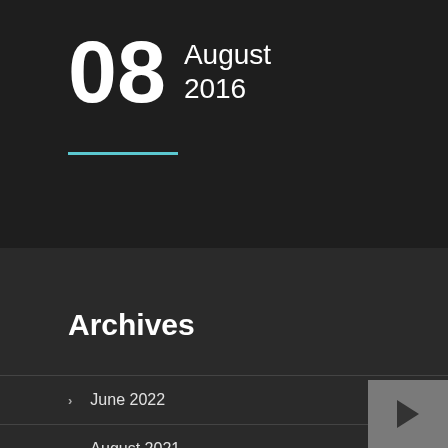08 August 2016
Archives
June 2022
August 2021
January 2021
September 2020